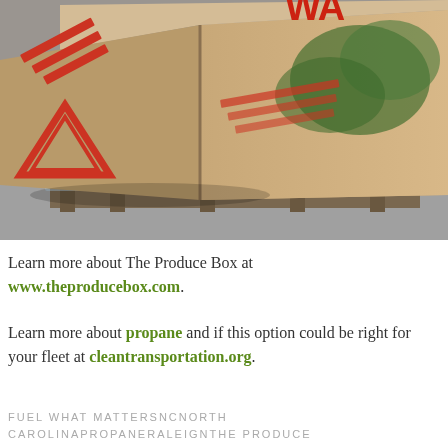[Figure (photo): Close-up photograph of cardboard produce boxes on a pallet, wrapped in plastic. The boxes have red and green branding/logos visible. The scene is shot at an angle showing the corner of stacked boxes on what appears to be a warehouse floor.]
Learn more about The Produce Box at www.theproducebox.com.
Learn more about propane and if this option could be right for your fleet at cleantransportation.org.
FUEL WHAT MATTERSNCNORTH CAROLINAPROPANERALEIGNTHE PRODUCE